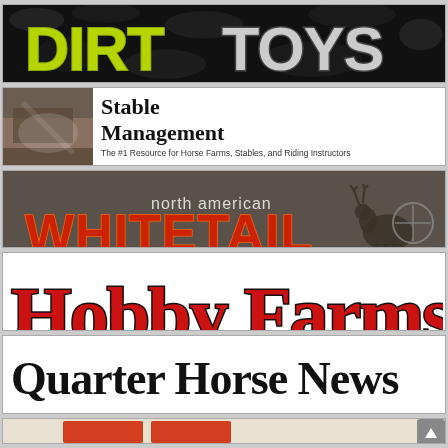[Figure (logo): Dirt Toys magazine logo — yellow-green grunge lettering on black camo background]
[Figure (logo): Stable Management magazine logo — photo of stable on left, bold serif text 'Stable Management' with tagline 'The #1 Resource for Horse Farms, Stables, and Riding Instructors']
[Figure (logo): North American Whitetail magazine logo — dark brown background with red/orange bold text 'WHITETAIL', smaller text 'north american', deer silhouette with crosshair]
[Figure (logo): Hobby Farms magazine logo — white background with large red serif bold text 'Hobby Farms' with black outline]
[Figure (logo): Quarter Horse News magazine logo — white background with large black serif text 'Quarter Horse News']
[Figure (logo): Partial view of another magazine logo at bottom — partially cut off]